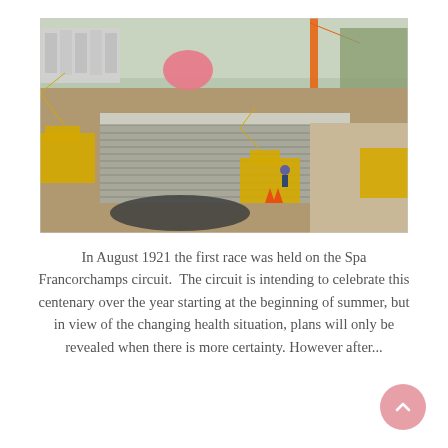[Figure (photo): Construction site at Spa Francorchamps circuit showing excavation work with yellow excavators, a large concrete retaining wall, and construction workers in a cleared area.]
In August 1921 the first race was held on the Spa Francorchamps circuit.  The circuit is intending to celebrate this centenary over the year starting at the beginning of summer, but in view of the changing health situation, plans will only be revealed when there is more certainty. However after...